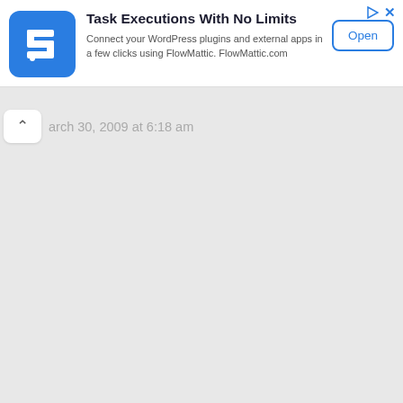[Figure (screenshot): Advertisement banner for FlowMattic. Blue square app icon on the left. Title: 'Task Executions With No Limits'. Description: 'Connect your WordPress plugins and external apps in a few clicks using FlowMattic. FlowMattic.com'. Open button on the right. Ad indicator icons (play triangle and X) in the top-right corner.]
arch 30, 2009 at 6:18 am